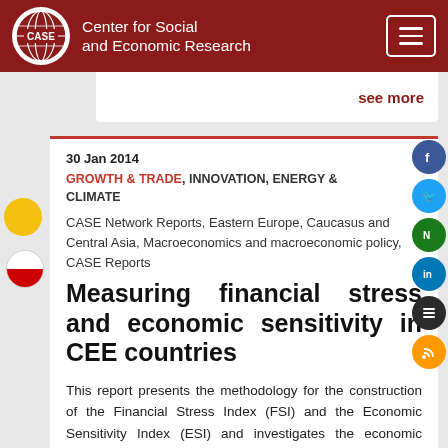Center for Social and Economic Research
see more
30 Jan 2014
GROWTH & TRADE, INNOVATION, ENERGY & CLIMATE
CASE Network Reports, Eastern Europe, Caucasus and Central Asia, Macroeconomics and macroeconomic policy, CASE Reports
Measuring financial stress and economic sensitivity in CEE countries
This report presents the methodology for the construction of the Financial Stress Index (FSI) and the Economic Sensitivity Index (ESI) and investigates the economic situation in twelve Central and East